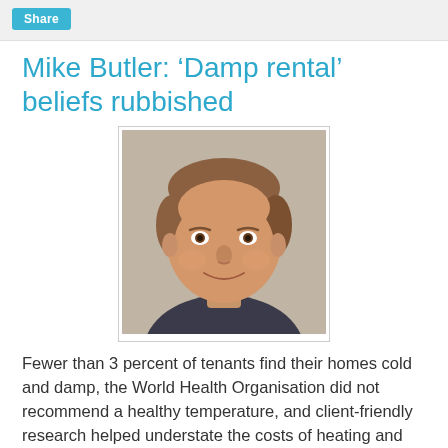Share
Mike Butler: ‘Damp rental’ beliefs rubbished
[Figure (photo): Headshot photo of a middle-aged man with brown hair, smiling, wearing a dark jacket]
Fewer than 3 percent of tenants find their homes cold and damp, the World Health Organisation did not recommend a healthy temperature, and client-friendly research helped understate the costs of heating and insulation proposals for rental property, according to a discussion document released today.
Iconoclastic economist Ian Harrison of Tailrisk Economics has taken aim at the cherished beliefs of Housing Minister